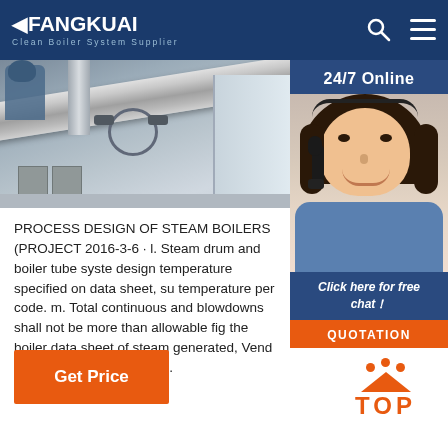FANGKUAI Clean Boiler System Supplier
[Figure (photo): Industrial boiler pipe and valve system in a manufacturing facility, with a worker visible in the background and large white machinery]
[Figure (photo): Customer service representative with headset smiling, with '24/7 Online' text, 'Click here for free chat!' and 'QUOTATION' button]
PROCESS DESIGN OF STEAM BOILERS (PROJECT 2016-3-6 · l. Steam drum and boiler tube system design temperature specified on data sheet, su temperature per code. m. Total continuous and blowdowns shall not be more than allowable fig the boiler data sheet of steam generated, Vend capacity at 100% rating. n.
[Figure (other): Get Price orange button]
[Figure (other): TOP icon with orange dots and triangle above the word TOP]